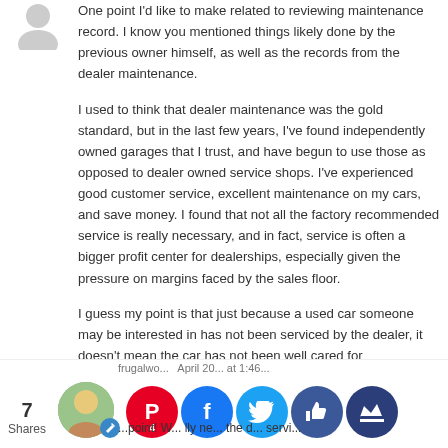[Figure (illustration): Gray user avatar icon (silhouette) in top left corner]
One point I'd like to make related to reviewing maintenance record. I know you mentioned things likely done by the previous owner himself, as well as the records from the dealer maintenance.

I used to think that dealer maintenance was the gold standard, but in the last few years, I've found independently owned garages that I trust, and have begun to use those as opposed to dealer owned service shops. I've experienced good customer service, excellent maintenance on my cars, and save money. I found that not all the factory recommended service is really necessary, and in fact, service is often a bigger profit center for dealerships, especially given the pressure on margins faced by the sales floor.

I guess my point is that just because a used car someone may be interested in has not been serviced by the dealer, it doesn't mean the car has not been well cared for
Reply
[Figure (photo): Small circular user profile photo of a woman]
frugalwo... April 20... at 1:46...
7
Shares
[Figure (infographic): Social share buttons: Pinterest (4), Facebook, Twitter, Likes, Crown icon]